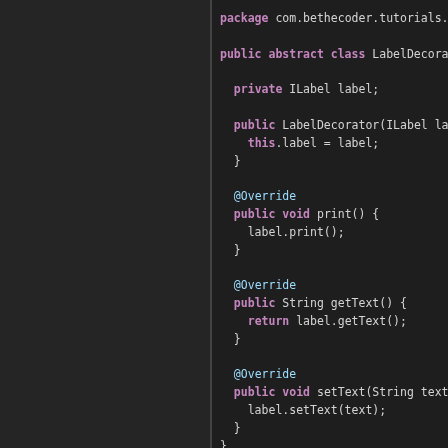[Figure (screenshot): Dark-themed IDE (VS Code style) showing Java source code for LabelDecorator abstract class. Left sidebar is dark grey panel. Right panel shows Java code with syntax highlighting: keywords in magenta/bold, annotations in grey, plain code in white/light grey.]